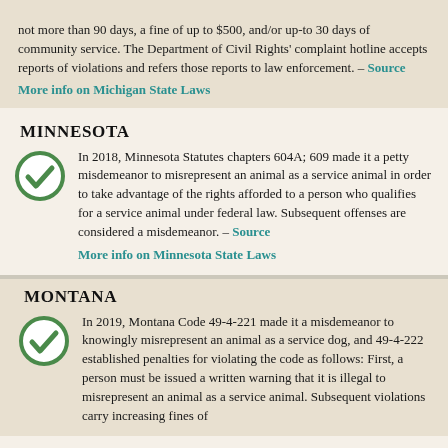not more than 90 days, a fine of up to $500, and/or up-to 30 days of community service. The Department of Civil Rights' complaint hotline accepts reports of violations and refers those reports to law enforcement. – Source
More info on Michigan State Laws
MINNESOTA
In 2018, Minnesota Statutes chapters 604A; 609 made it a petty misdemeanor to misrepresent an animal as a service animal in order to take advantage of the rights afforded to a person who qualifies for a service animal under federal law. Subsequent offenses are considered a misdemeanor. – Source
More info on Minnesota State Laws
MONTANA
In 2019, Montana Code 49-4-221 made it a misdemeanor to knowingly misrepresent an animal as a service dog, and 49-4-222 established penalties for violating the code as follows: First, a person must be issued a written warning that it is illegal to misrepresent an animal as a service animal. Subsequent violations carry increasing fines of